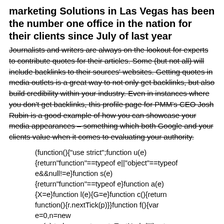marketing Solutions in Las Vegas has been the number one office in the nation for their clients since July of last year
Journalists and writers are always on the lookout for experts to contribute quotes for their articles. Some (but not all) will include backlinks to their sources' websites. Getting quotes in media outlets is a great way to not only get backlinks, but also build credibility within your industry. Even in instances where you don't get backlinks, this profile page for PMM's CEO Josh Rubin is a good example of how you can showcase your media appearances – something which both Google and your clients value when it comes to evaluating your authority.
(function(){"use strict";function u(e){return"function"==typeof e||"object"==typeof e&&null!=e}function s(e){return"function"==typeof e}function a(e){X=e}function l(e){G=e}function c(){return function(){r.nextTick(p)}}function f(){var e=0,n=new ne(p),t=document.createTextNode("");return n.observe(t,{characterData:!0}),function(){t.data=e=++e%2}}function d(){var e=new MessageChannel;return e.port1.onmessage=p,function()